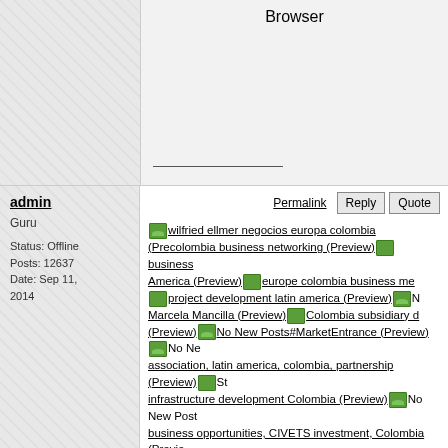Browser
admin
Guru
Status: Offline
Posts: 12637
Date: Sep 11, 2014
Permalink  Reply  Quote
wilfried ellmer negocios europa colombia (Preview) colombia business networking (Preview) business America (Preview) europe colombia business me Sticky Topic project development latin america (Preview) Marcela Mancilla (Preview) Colombia subsidiary d (Preview) #MarketEntrance (Preview) association, latin america, colombia, partnership (Preview) infrastructure development Colombia (Preview) business opportunities, CIVETS investment, Colombia (Preview) hierro colombia (Preview) carbon colombia (Pre plomo colombia (Preview) me (Preview) cobre colombia (Preview) colombia (Preview) petroleo colombia (Preview uranio colombia (Preview) cinc colombia (Previ colombia carbon (Preview) sge